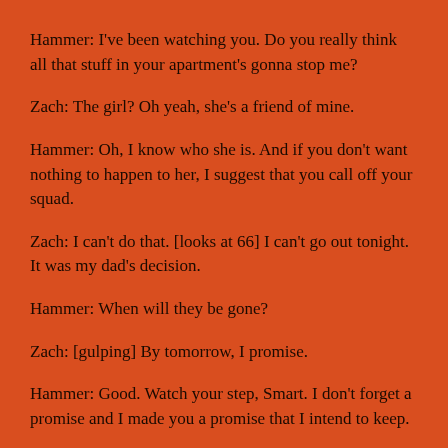Hammer: I've been watching you. Do you really think all that stuff in your apartment's gonna stop me?
Zach: The girl? Oh yeah, she's a friend of mine.
Hammer: Oh, I know who she is. And if you don't want nothing to happen to her, I suggest that you call off your squad.
Zach: I can't do that. [looks at 66] I can't go out tonight. It was my dad's decision.
Hammer: When will they be gone?
Zach: [gulping] By tomorrow, I promise.
Hammer: Good. Watch your step, Smart. I don't forget a promise and I made you a promise that I intend to keep.